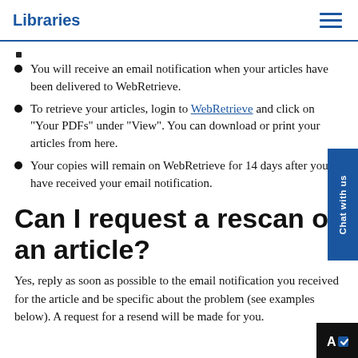Libraries
▪
You will receive an email notification when your articles have been delivered to WebRetrieve.
To retrieve your articles, login to WebRetrieve and click on "Your PDFs" under "View". You can download or print your articles from here.
Your copies will remain on WebRetrieve for 14 days after you have received your email notification.
Can I request a rescan of an article?
Yes, reply as soon as possible to the email notification you received for the article and be specific about the problem (see examples below). A request for a resend will be made for you.